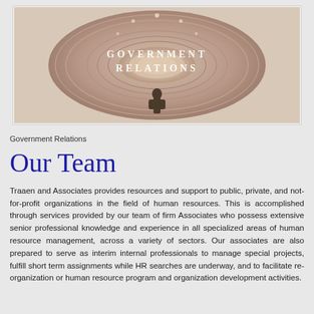[Figure (illustration): Rotunda dome interior with a silhouetted statue in the center. Text overlay reads 'GOVERNMENT RELATIONS' in white serif lettering on the domed ceiling.]
Government Relations
Our Team
Traaen and Associates provides resources and support to public, private, and not-for-profit organizations in the field of human resources. This is accomplished through services provided by our team of firm Associates who possess extensive senior professional knowledge and experience in all specialized areas of human resource management, across a variety of sectors. Our associates are also prepared to serve as interim internal professionals to manage special projects, fulfill short term assignments while HR searches are underway, and to facilitate re-organization or human resource program and organization development activities.